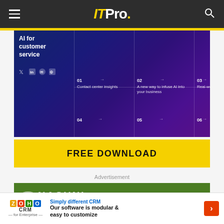ITPro.
[Figure (screenshot): Dark gradient background image (blue to purple) showing an AI for customer service interface with a grid layout containing numbered sections: 01 Contact center insights, 02 A new way to infuse AI into your business, 03 Real-world success stories, 04, 05, 06]
FREE DOWNLOAD
Advertisement
[Figure (logo): Nasuni logo on green background]
[Figure (infographic): Zoho CRM banner ad: Simply different CRM - Our software is modular & easy to customize]